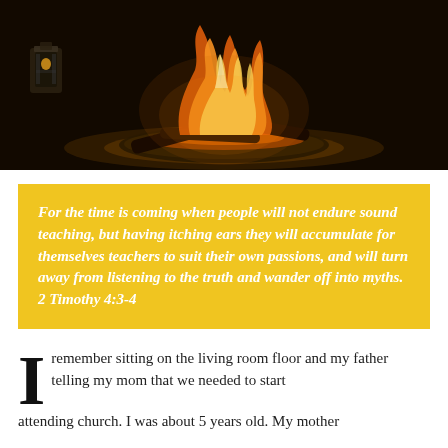[Figure (photo): Close-up photograph of a fire burning in a round fire pit/bowl on a dark background, with flames and glowing embers visible. A small lantern is visible in the upper left corner.]
For the time is coming when people will not endure sound teaching, but having itching ears they will accumulate for themselves teachers to suit their own passions, and will turn away from listening to the truth and wander off into myths. 2 Timothy 4:3-4
I remember sitting on the living room floor and my father telling my mom that we needed to start attending church. I was about 5 years old. My mother